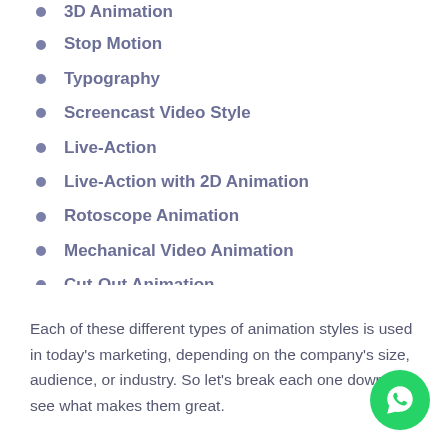3D Animation
Stop Motion
Typography
Screencast Video Style
Live-Action
Live-Action with 2D Animation
Rotoscope Animation
Mechanical Video Animation
Cut-Out Animation
HUD Animation
Plexus Video Animation
Each of these different types of animation styles is used in today's marketing, depending on the company's size, audience, or industry. So let's break each one down and see what makes them great.